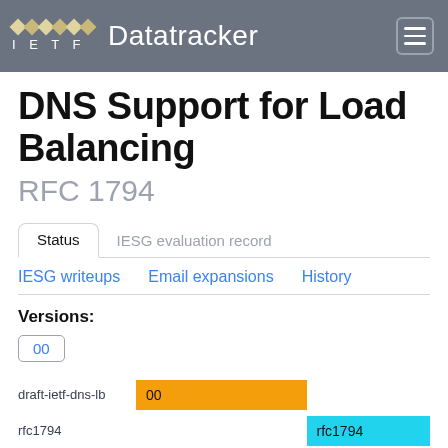IETF Datatracker
DNS Support for Load Balancing
RFC 1794
Status	IESG evaluation record
IESG writeups	Email expansions	History
Versions:
00
[Figure (bar-chart): Version timeline]